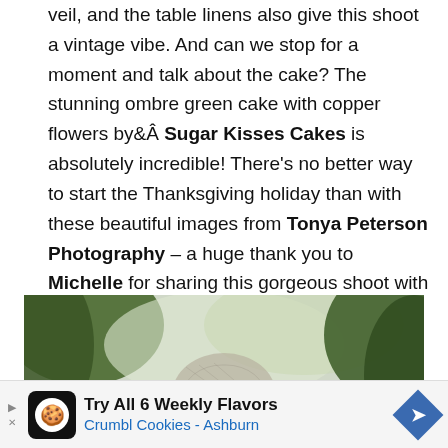veil, and the table linens also give this shoot a vintage vibe. And can we stop for a moment and talk about the cake? The stunning ombre green cake with copper flowers by Sugar Kisses Cakes is absolutely incredible! There's no better way to start the Thanksgiving holiday than with these beautiful images from Tonya Peterson Photography – a huge thank you to Michelle for sharing this gorgeous shoot with us!
[Figure (photo): Outdoor photograph of a bride wearing a birdcage veil with dark hair, surrounded by green trees and natural light.]
Try All 6 Weekly Flavors Crumbl Cookies - Ashburn